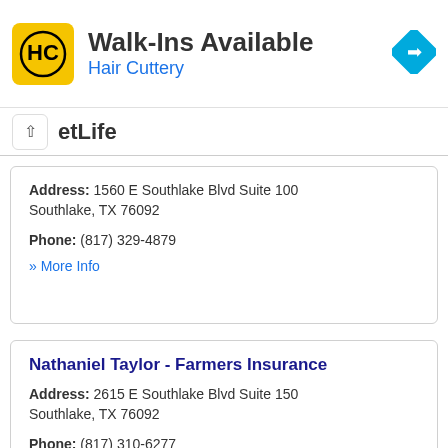[Figure (logo): Hair Cuttery logo and Walk-Ins Available advertisement banner with navigation icon]
etLife
Address: 1560 E Southlake Blvd Suite 100 Southlake, TX 76092
Phone: (817) 329-4879
» More Info
Nathaniel Taylor - Farmers Insurance
Address: 2615 E Southlake Blvd Suite 150 Southlake, TX 76092
Phone: (817) 310-6277
» More Info